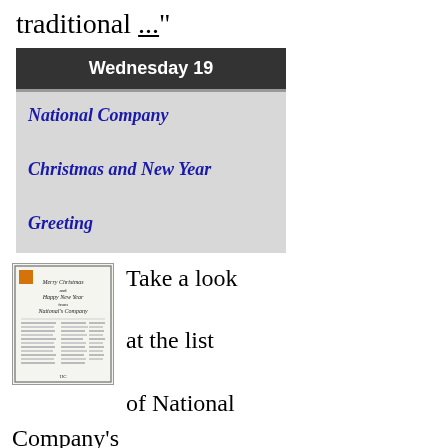traditional ..."
Wednesday 19
National Company Christmas and New Year Greeting
[Figure (illustration): Thumbnail image of a National Company Christmas and New Year greeting card document listing employees]
Take a look at the list of National Company's employee list